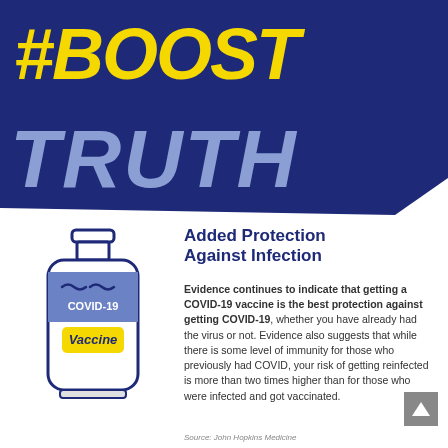[Figure (infographic): Dark navy blue banner with hashtag #BOOST in large yellow bold italic text and TRUTH in large light blue/grey bold italic text below it]
[Figure (illustration): Illustrated COVID-19 vaccine vial bottle with blue label reading COVID-19 Vaccine with yellow background on the Vaccine text]
Added Protection Against Infection
Evidence continues to indicate that getting a COVID-19 vaccine is the best protection against getting COVID-19, whether you have already had the virus or not. Evidence also suggests that while there is some level of immunity for those who previously had COVID, your risk of getting reinfected is more than two times higher than for those who were infected and got vaccinated.
Source: John Hopkins Medicine